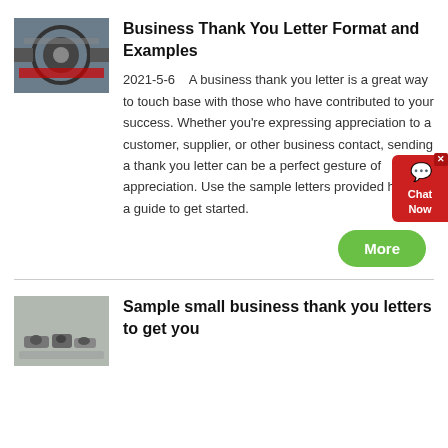[Figure (photo): Industrial machinery / roller equipment photo thumbnail]
Business Thank You Letter Format and Examples
2021-5-6   A business thank you letter is a great way to touch base with those who have contributed to your success. Whether you're expressing appreciation to a customer, supplier, or other business contact, sending a thank you letter can be a perfect gesture of appreciation. Use the sample letters provided here as a guide to get started.
[Figure (photo): Small metal parts / hardware photo thumbnail]
Sample small business thank you letters to get you